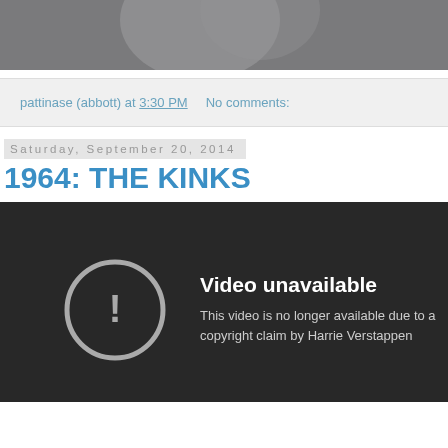[Figure (photo): Black and white photo partially visible at the top of the page, cropped]
pattinase (abbott) at 3:30 PM   No comments:
Saturday, September 20, 2014
1964: THE KINKS
[Figure (screenshot): Video unavailable message on dark background. Circle with exclamation icon. Text: 'Video unavailable. This video is no longer available due to a copyright claim by Harrie Verstappen']